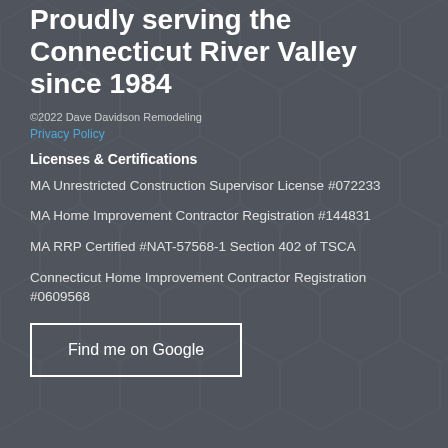Proudly serving the Connecticut River Valley since 1984
©2022 Dave Davidson Remodeling
Privacy Policy
Licenses & Certifications
MA Unrestricted Construction Supervisor License #072233
MA Home Improvement Contractor Registration #144831
MA RRP Certified #NAT-57568-1 Section 402 of TSCA
Connecticut Home Improvement Contractor Registration #0609568
Find me on Google